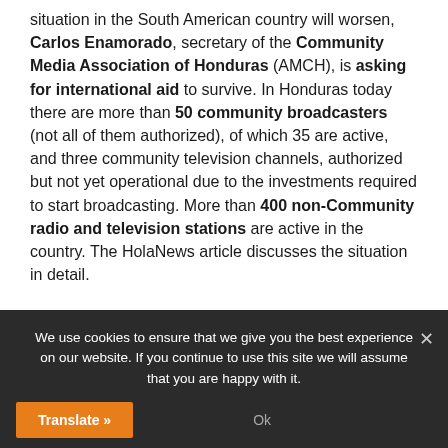situation in the South American country will worsen, Carlos Enamorado, secretary of the Community Media Association of Honduras (AMCH), is asking for international aid to survive. In Honduras today there are more than 50 community broadcasters (not all of them authorized), of which 35 are active, and three community television channels, authorized but not yet operational due to the investments required to start broadcasting. More than 400 non-Community radio and television stations are active in the country. The HolaNews article discusses the situation in detail.
We use cookies to ensure that we give you the best experience on our website. If you continue to use this site we will assume that you are happy with it.